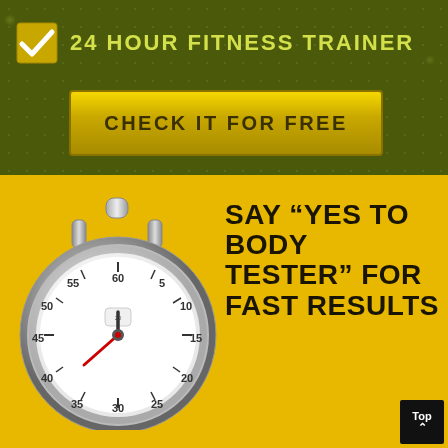24 HOUR FITNESS TRAINER
CHECK IT FOR FREE
[Figure (illustration): Stopwatch/timer illustration with chrome body, white face, red hands, and minute markings 5-60]
SAY “YES TO BODY TESTER” FOR FAST RESULTS